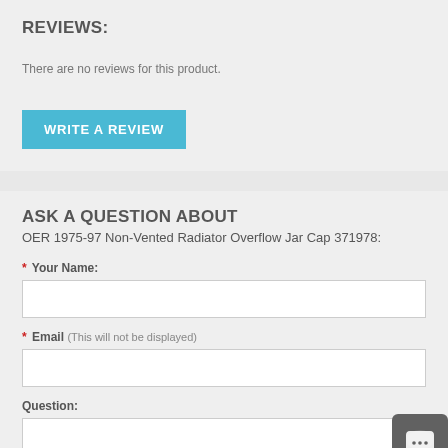REVIEWS:
There are no reviews for this product.
WRITE A REVIEW
ASK A QUESTION ABOUT OER 1975-97 Non-Vented Radiator Overflow Jar Cap 371978:
* Your Name:
* Email (This will not be displayed)
Question: